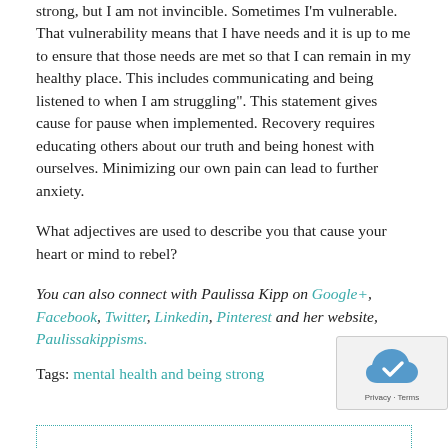strong, but I am not invincible. Sometimes I'm vulnerable. That vulnerability means that I have needs and it is up to me to ensure that those needs are met so that I can remain in my healthy place. This includes communicating and being listened to when I am struggling". This statement gives cause for pause when implemented. Recovery requires educating others about our truth and being honest with ourselves. Minimizing our own pain can lead to further anxiety.
What adjectives are used to describe you that cause your heart or mind to rebel?
You can also connect with Paulissa Kipp on Google+, Facebook, Twitter, Linkedin, Pinterest and her website, Paulissakippisms.
Tags: mental health and being strong